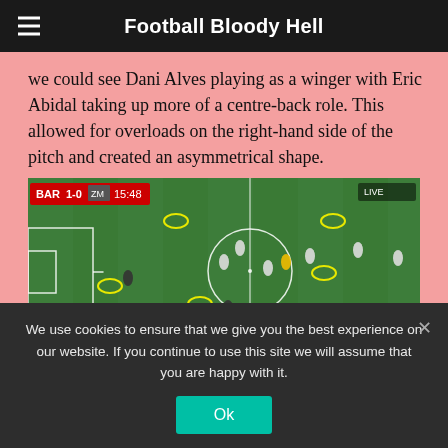Football Bloody Hell
we could see Dani Alves playing as a winger with Eric Abidal taking up more of a centre-back role. This allowed for overloads on the right-hand side of the pitch and created an asymmetrical shape.
[Figure (screenshot): Football match screenshot showing BAR 1-0 at 15:48, with yellow circles highlighting player positions on a football pitch, showing Barcelona's asymmetrical formation]
We use cookies to ensure that we give you the best experience on our website. If you continue to use this site we will assume that you are happy with it.